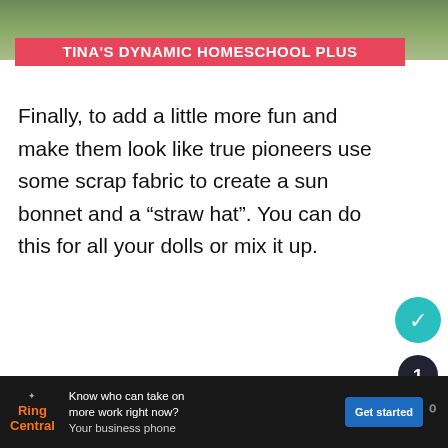[Figure (photo): Partial top image of outdoor homeschool activity scene, cropped at top]
TINA'S DYNAMIC HOMESCHOOL PLUS
Finally, to add a little more fun and make them look like true pioneers use some scrap fabric to create a sun bonnet and a “straw hat”. You can do this for all your dolls or mix it up.
[Figure (infographic): Teal sidebar social share widget with circular icons and number 1]
[Figure (infographic): Related post widget: small thumbnail and title 'Famous and Historic Tree...' on teal background]
[Figure (infographic): RingCentral advertisement banner: 'Know who can take on more work right now? Your business phone' with Get started button]